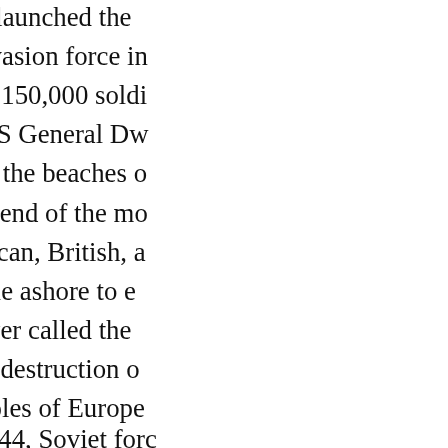western Allies launched the amphibious invasion force in landing almost 150,000 soldi command of US General Dw Eisenhower on the beaches o France. By the end of the mo 850,000 American, British, a troops had come ashore to e what Eisenhower called the Crusade,” the “destruction o oppressed peoples of Europe
On June 22, 1944, Soviet forc the center of the eastern fro Poland by early August.
As Allied and Soviet troops m they encountered concentra Soviet forces were the first t